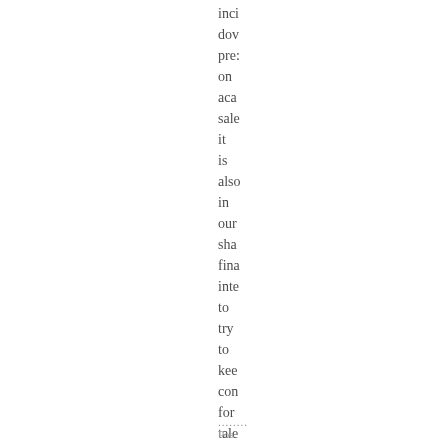inci
dov
pre:
on
aca
sale
it
is
also
in
our
sha
fina
inte
to
try
to
kee
con
for
tale
aliv
........ Pos